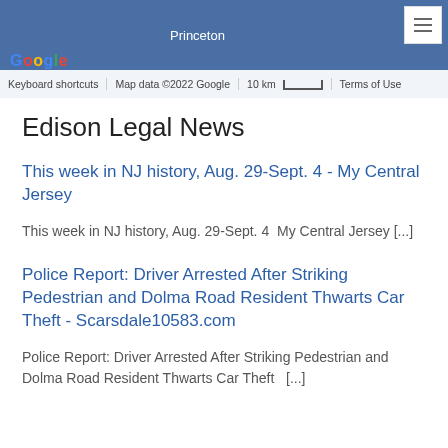[Figure (map): Google Maps showing Princeton area with blue map background, Google logo, map attribution bar with Keyboard shortcuts, Map data ©2022 Google, 10 km scale, Terms of Use]
Edison Legal News
This week in NJ history, Aug. 29-Sept. 4 - My Central Jersey
This week in NJ history, Aug. 29-Sept. 4  My Central Jersey [...]
Police Report: Driver Arrested After Striking Pedestrian and Dolma Road Resident Thwarts Car Theft - Scarsdale10583.com
Police Report: Driver Arrested After Striking Pedestrian and Dolma Road Resident Thwarts Car Theft   [...]